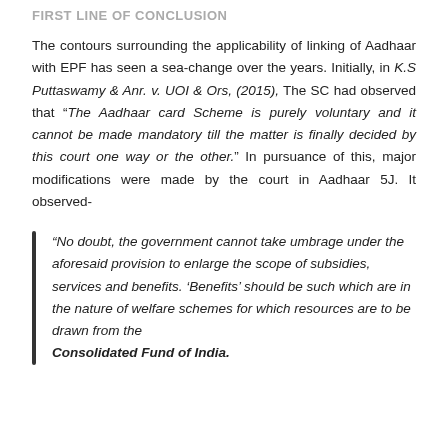FIRST LINE OF CONCLUSION
The contours surrounding the applicability of linking of Aadhaar with EPF has seen a sea-change over the years. Initially, in K.S Puttaswamy & Anr. v. UOI & Ors, (2015), The SC had observed that “The Aadhaar card Scheme is purely voluntary and it cannot be made mandatory till the matter is finally decided by this court one way or the other.” In pursuance of this, major modifications were made by the court in Aadhaar 5J. It observed-
“No doubt, the government cannot take umbrage under the aforesaid provision to enlarge the scope of subsidies, services and benefits. ‘Benefits’ should be such which are in the nature of welfare schemes for which resources are to be drawn from the Consolidated Fund of India.